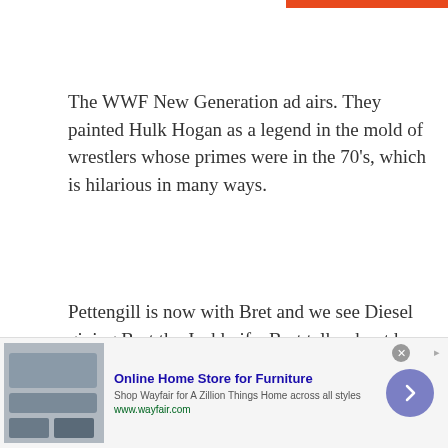The WWF New Generation ad airs. They painted Hulk Hogan as a legend in the mold of wrestlers whose primes were in the 70’s, which is hilarious in many ways.
Pettengill is now with Bret and we see Diesel giving Bret the Jackknife. Bret talks about how painful the move is and says Diesel is a long way from putting that move on him again. Pettengill then asks about Bret’s family member that will accompany him to the ring but
[Figure (other): Wayfair advertisement banner: Online Home Store for Furniture. Shop Wayfair for A Zillion Things Home across all styles. www.wayfair.com. Shows furniture/appliance image on left, text in center, blue circle arrow button on right.]